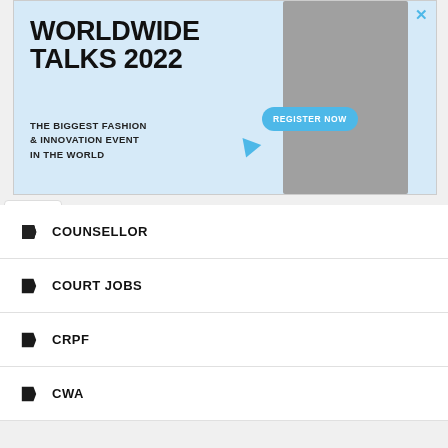[Figure (illustration): Advertisement banner for Worldwide Talks 2022 - The Biggest Fashion & Innovation Event In The World, with Register Now button]
COUNSELLOR
COURT JOBS
CRPF
CWA
CYBER CORPORATION MANIPUR LIMITED
DAKSHIN GUJARAT VIJ COMPANY LIMITED
DAMAN AND DIU
DC OFFICE
DDA
DEFENCE